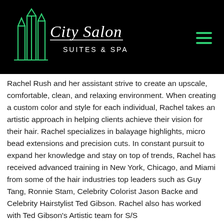[Figure (logo): City Salon Suites & Spa logo with green geometric building icon and white cursive/script text on black background, with hamburger menu icon in top right]
Rachel Rush and her assistant strive to create an upscale, comfortable, clean, and relaxing environment. When creating a custom color and style for each individual, Rachel takes an artistic approach in helping clients achieve their vision for their hair. Rachel specializes in balayage highlights, micro bead extensions and precision cuts. In constant pursuit to expand her knowledge and stay on top of trends, Rachel has received advanced training in New York, Chicago, and Miami from some of the hair industries top leaders such as Guy Tang, Ronnie Stam, Celebrity Colorist Jason Backe and Celebrity Hairstylist Ted Gibson. Rachel also has worked with Ted Gibson's Artistic team for S/S